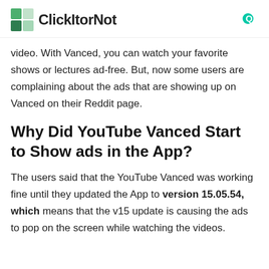ClickItorNot
video. With Vanced, you can watch your favorite shows or lectures ad-free. But, now some users are complaining about the ads that are showing up on Vanced on their Reddit page.
Why Did YouTube Vanced Start to Show ads in the App?
The users said that the YouTube Vanced was working fine until they updated the App to version 15.05.54, which means that the v15 update is causing the ads to pop on the screen while watching the videos.